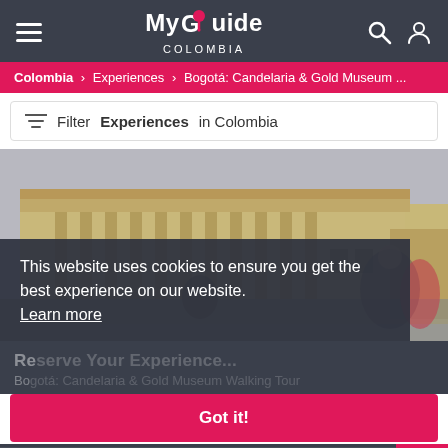My Guide COLOMBIA
Colombia > Experiences > Bogotá: Candelaria & Gold Museum ...
Filter Experiences in Colombia
[Figure (photo): A neoclassical building with large columns in Bogotá, Colombia. People visible in front.]
This website uses cookies to ensure you get the best experience on our website. Learn more
Reserve Your Experience...
Bogotá: Candelaria & Gold Museum Walking Tour
Got it!
BOOK NOW